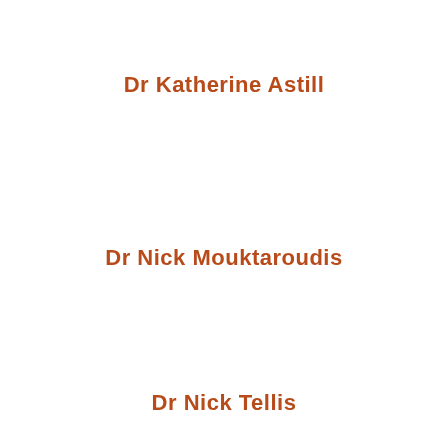Dr Katherine Astill
Dr Nick Mouktaroudis
Dr Nick Tellis